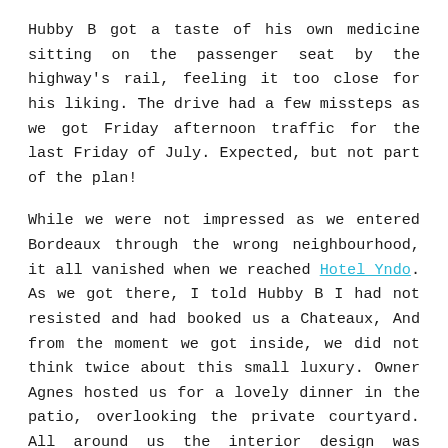Hubby B got a taste of his own medicine sitting on the passenger seat by the highway's rail, feeling it too close for his liking. The drive had a few missteps as we got Friday afternoon traffic for the last Friday of July. Expected, but not part of the plan!
While we were not impressed as we entered Bordeaux through the wrong neighbourhood, it all vanished when we reached Hotel Yndo. As we got there, I told Hubby B I had not resisted and had booked us a Chateaux, And from the moment we got inside, we did not think twice about this small luxury. Owner Agnes hosted us for a lovely dinner in the patio, overlooking the private courtyard. All around us the interior design was notable; that was indeed the owner's prior job and it showed